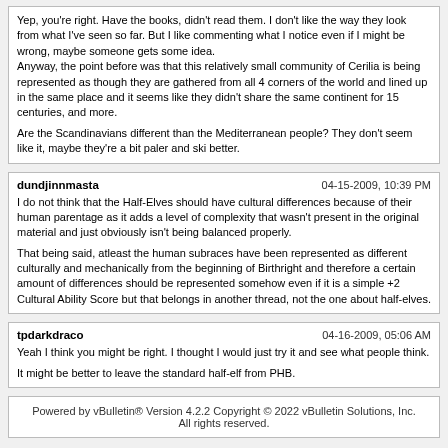Yep, you're right. Have the books, didn't read them. I don't like the way they look from what I've seen so far. But I like commenting what I notice even if I might be wrong, maybe someone gets some idea.
Anyway, the point before was that this relatively small community of Cerilia is being represented as though they are gathered from all 4 corners of the world and lined up in the same place and it seems like they didn't share the same continent for 15 centuries, and more.

Are the Scandinavians different than the Mediterranean people? They don't seem like it, maybe they're a bit paler and ski better.
dundjinnmasta
04-15-2009, 10:39 PM
I do not think that the Half-Elves should have cultural differences because of their human parentage as it adds a level of complexity that wasn't present in the original material and just obviously isn't being balanced properly.

That being said, atleast the human subraces have been represented as different culturally and mechanically from the beginning of Birthright and therefore a certain amount of differences should be represented somehow even if it is a simple +2 Cultural Ability Score but that belongs in another thread, not the one about half-elves.
tpdarkdraco
04-16-2009, 05:06 AM
Yeah I think you might be right. I thought I would just try it and see what people think.

It might be better to leave the standard half-elf from PHB.
Powered by vBulletin® Version 4.2.2 Copyright © 2022 vBulletin Solutions, Inc. All rights reserved.